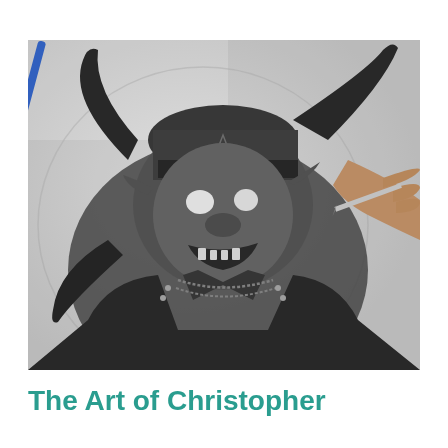[Figure (photo): A black and white detailed pencil drawing of a demonic goblin/orc creature wearing a spiked cap with a pentagram symbol and a leather jacket with chains and studs. The creature has large curved horns, pointed ears, glowing white eyes, and a snarling mouth showing sharp teeth. A human hand holding a pencil/pen is visible in the upper right corner, actively drawing on the artwork. The drawing is done on white paper with a circular composition visible.]
The Art of Christopher